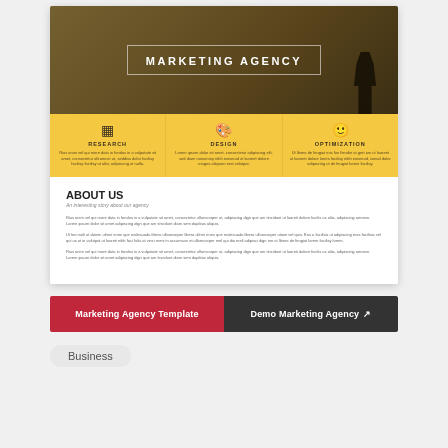[Figure (screenshot): Marketing Agency website template screenshot showing hero image with city skyline and businessman silhouette, three-column feature section (Research, Design, Optimization) with yellow background, and About Us white section with lorem ipsum text]
Marketing Agency Template
Demo Marketing Agency ↗
Business